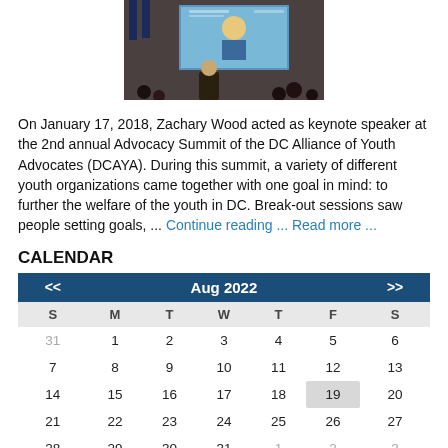[Figure (photo): Photo of a keynote speaker presentation at a summit, showing a projection screen with a speaker at a podium in a dark room.]
On January 17, 2018, Zachary Wood acted as keynote speaker at the 2nd annual Advocacy Summit of the DC Alliance of Youth Advocates (DCAYA). During this summit, a variety of different youth organizations came together with one goal in mind: to further the welfare of the youth in DC. Break-out sessions saw people setting goals, ... Continue reading ... Read more ...
CALENDAR
| << | Aug 2022 | >> |  |  |  |  |
| --- | --- | --- | --- | --- | --- | --- |
| S | M | T | W | T | F | S |
| 31 | 1 | 2 | 3 | 4 | 5 | 6 |
| 7 | 8 | 9 | 10 | 11 | 12 | 13 |
| 14 | 15 | 16 | 17 | 18 | 19 | 20 |
| 21 | 22 | 23 | 24 | 25 | 26 | 27 |
| 28 | 29 | 30 | 31 | 1 | 2 | 3 |